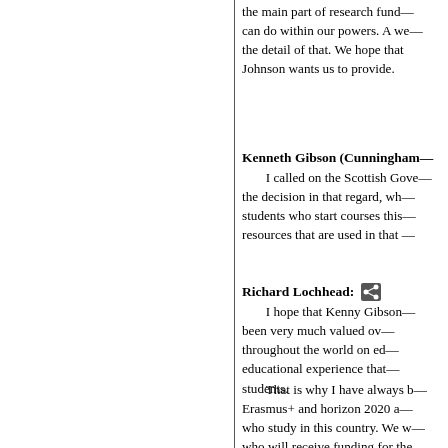the main part of research fund— can do within our powers. A we— the detail of that. We hope that Johnson wants us to provide.
Kenneth Gibson (Cunningham—): I called on the Scottish Gove— the decision in that regard, wh— students who start courses this— resources that are used in that —
Richard Lochhead: I hope that Kenny Gibson— been very much valued ov— throughout the world on ed— educational experience that— students. That is why I have always b— Erasmus+ and horizon 2020 a— who study in this country. We w— who will receive funding for the— be a transition year while we wa—
Mark Ruskell (Mid Scotland a—): Despite the financial crisis a— lockdown, which has concern—